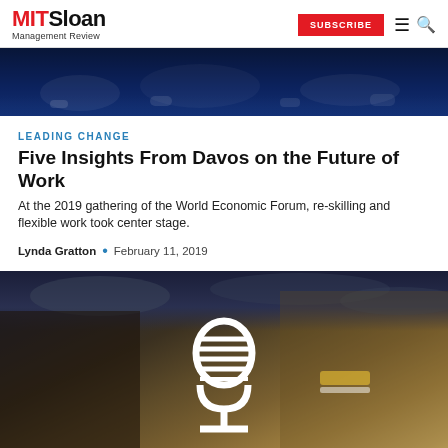MIT Sloan Management Review — SUBSCRIBE
[Figure (photo): Dark blue-toned photo of an audience or crowd in a dimly lit venue]
LEADING CHANGE
Five Insights From Davos on the Future of Work
At the 2019 gathering of the World Economic Forum, re-skilling and flexible work took center stage.
Lynda Gratton · February 11, 2019
[Figure (photo): Dark dramatic photo of athletes or workers with a white microphone icon overlaid in the center]